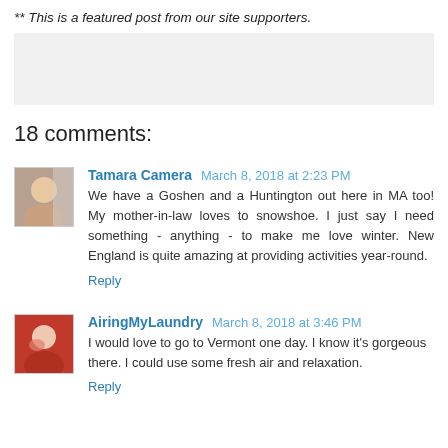** This is a featured post from our site supporters.
[Figure (other): Gray advertisement/placeholder box]
18 comments:
Tamara Camera March 8, 2018 at 2:23 PM
We have a Goshen and a Huntington out here in MA too! My mother-in-law loves to snowshoe. I just say I need something - anything - to make me love winter. New England is quite amazing at providing activities year-round.
Reply
AiringMyLaundry March 8, 2018 at 3:46 PM
I would love to go to Vermont one day. I know it's gorgeous there. I could use some fresh air and relaxation.
Reply